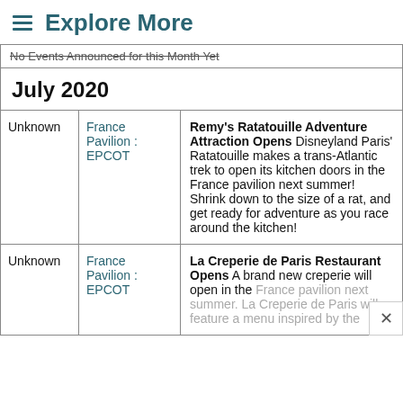≡ Explore More
| Date | Location | Description |
| --- | --- | --- |
|  | July 2020 |  |
| Unknown | France Pavilion : EPCOT | Remy's Ratatouille Adventure Attraction Opens Disneyland Paris' Ratatouille makes a trans-Atlantic trek to open its kitchen doors in the France pavilion next summer! Shrink down to the size of a rat, and get ready for adventure as you race around the kitchen! |
| Unknown | France Pavilion : EPCOT | La Creperie de Paris Restaurant Opens A brand new creperie will open in the France pavilion next summer. La Creperie de Paris will feature a menu inspired by the |